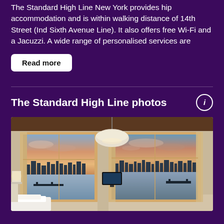The Standard High Line New York provides hip accommodation and is within walking distance of 14th Street (Ind Sixth Avenue Line). It also offers free Wi-Fi and a Jacuzzi. A wide range of personalised services are
Read more
The Standard High Line photos
[Figure (photo): Interior hotel room photo showing two large windows with a stunning sunset view over a river and city skyline. A modern pendant lamp hangs from the ceiling. A TV is visible on the wall between the windows. The room has warm beige tones with white curtains and white bedding visible in the foreground.]